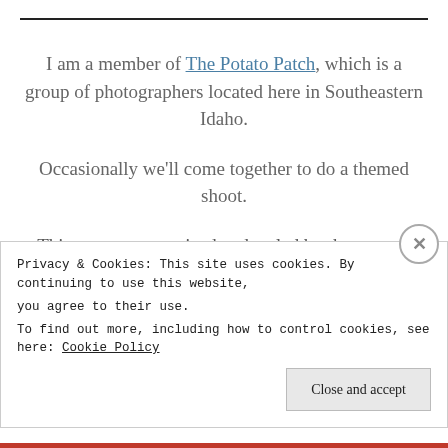I am a member of The Potato Patch, which is a group of photographers located here in Southeastern Idaho.
Occasionally we'll come together to do a themed shoot.
This one was organized and styled by the group's founder, talented photographer of Vanilla Tree Photography, Catherine Auger.
Privacy & Cookies: This site uses cookies. By continuing to use this website, you agree to their use. To find out more, including how to control cookies, see here: Cookie Policy